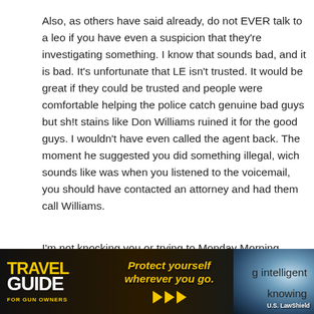Also, as others have said already, do not EVER talk to a leo if you have even a suspicion that they're investigating something. I know that sounds bad, and it is bad. It's unfortunate that LE isn't trusted. It would be great if they could be trusted and people were comfortable helping the police catch genuine bad guys but sh!t stains like Don Williams ruined it for the good guys. I wouldn't have even called the agent back. The moment he suggested you did something illegal, wich sounds like was when you listened to the voicemail, you should have contacted an attorney and had them call Williams.
I'm not knocking you or trying to Monday Morning [Quarterback. Being intelligent about this stuff and knowing...]
[Figure (other): Advertisement banner for 'Travel Guide for Gun Owners' with tagline 'Protect yourself wherever you go.' and U.S. LawShield logo on dark background with gold text and arrows.]